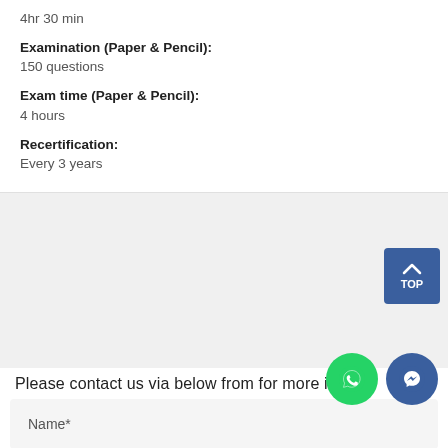4hr 30 min
Examination (Paper & Pencil):
150 questions
Exam time (Paper & Pencil):
4 hours
Recertification:
Every 3 years
Please contact us via below from for more info
Name*